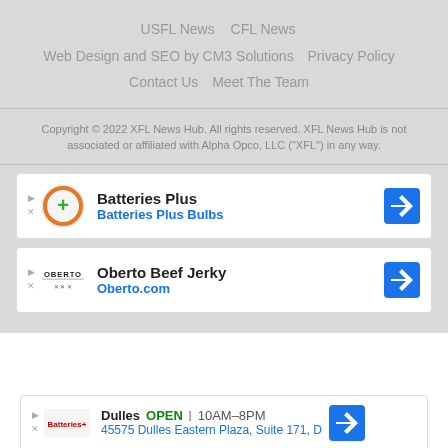USFL News   CFL News
Web Design and SEO by CM3 Solutions   Privacy Policy
Contact Us   Meet The Team
Copyright © 2022 XFL News Hub. All rights reserved. XFL News Hub is not associated or affiliated with Alpha Opco, LLC ("XFL") in any way.
[Figure (other): Ad card for Batteries Plus / Batteries Plus Bulbs with orange circular logo and blue direction arrow icon]
[Figure (other): Ad card for Oberto Beef Jerky / Oberto.com with Oberto logo and blue direction arrow icon]
[Figure (other): Ad card for Dulles location - OPEN 10AM-8PM, 45575 Dulles Eastern Plaza, Suite 171, D with blue direction arrow icon]